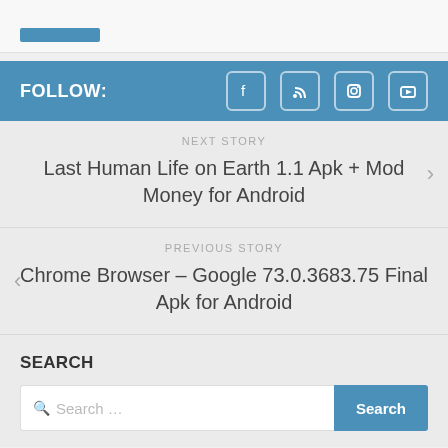FOLLOW:
NEXT STORY
Last Human Life on Earth 1.1 Apk + Mod Money for Android
PREVIOUS STORY
Chrome Browser – Google 73.0.3683.75 Final Apk for Android
SEARCH